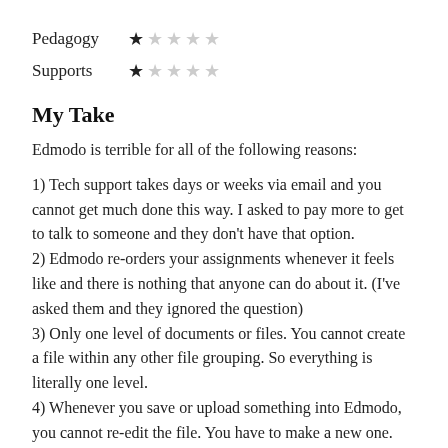Pedagogy ★☆☆☆☆
Supports ★☆☆☆☆
My Take
Edmodo is terrible for all of the following reasons:
1) Tech support takes days or weeks via email and you cannot get much done this way. I asked to pay more to get to talk to someone and they don't have that option.
2) Edmodo re-orders your assignments whenever it feels like and there is nothing that anyone can do about it. (I've asked them and they ignored the question)
3) Only one level of documents or files. You cannot create a file within any other file grouping. So everything is literally one level.
4) Whenever you save or upload something into Edmodo, you cannot re-edit the file. You have to make a new one. On